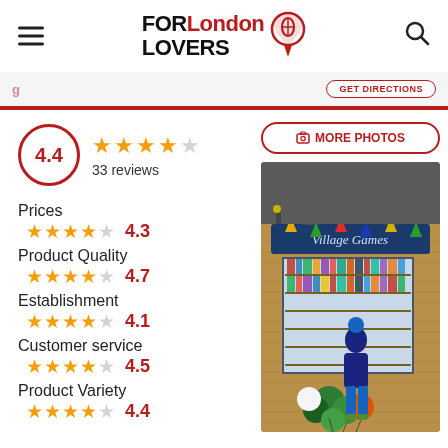FOR London LOVERS
4.4 — 33 reviews
Prices ★★★★☆ 4.3
Product Quality ★★★★☆ 4.7
Establishment ★★★★☆ 4.1
Customer service ★★★★☆ 4.5
Product Variety ★★★★☆ 4.4
[Figure (photo): Exterior of Village Games shop with bunting, a window display of board games, and a child in a blue coat holding green balloons.]